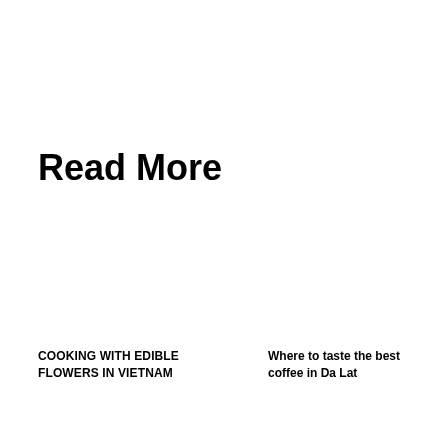Read More
COOKING WITH EDIBLE FLOWERS IN VIETNAM
Where to taste the best coffee in Da Lat